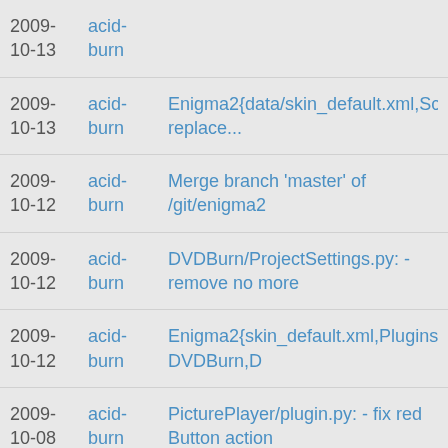2009-10-13 acid-burn burn
2009-10-13 acid-burn Enigma2{data/skin_default.xml,Screens/Setup replace...
2009-10-12 acid-burn Merge branch 'master' of /git/enigma2
2009-10-12 acid-burn DVDBurn/ProjectSettings.py: -remove no more
2009-10-12 acid-burn Enigma2{skin_default.xml,Plugins-DVDBurn,D
2009-10-08 acid-burn PicturePlayer/plugin.py: - fix red Button action